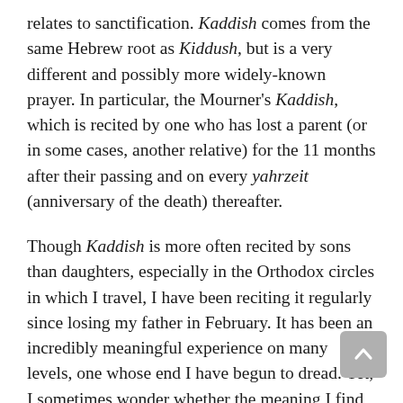relates to sanctification. Kaddish comes from the same Hebrew root as Kiddush, but is a very different and possibly more widely-known prayer. In particular, the Mourner's Kaddish, which is recited by one who has lost a parent (or in some cases, another relative) for the 11 months after their passing and on every yahrzeit (anniversary of the death) thereafter.
Though Kaddish is more often recited by sons than daughters, especially in the Orthodox circles in which I travel, I have been reciting it regularly since losing my father in February. It has been an incredibly meaningful experience on many levels, one whose end I have begun to dread. Yet, I sometimes wonder whether the meaning I find in this prayer